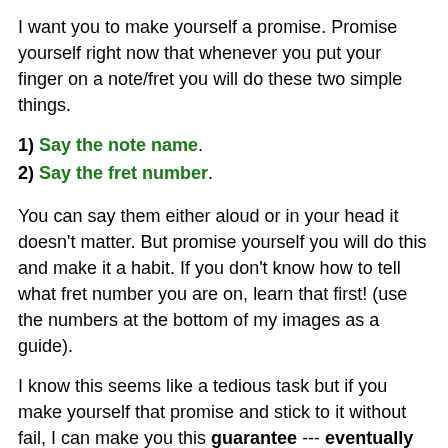I want you to make yourself a promise. Promise yourself right now that whenever you put your finger on a note/fret you will do these two simple things.
1) Say the note name.
2) Say the fret number.
You can say them either aloud or in your head it doesn't matter. But promise yourself you will do this and make it a habit. If you don't know how to tell what fret number you are on, learn that first! (use the numbers at the bottom of my images as a guide).
I know this seems like a tedious task but if you make yourself that promise and stick to it without fail, I can make you this guarantee --- eventually this will become second nature to you so that whenever you play guitar you will